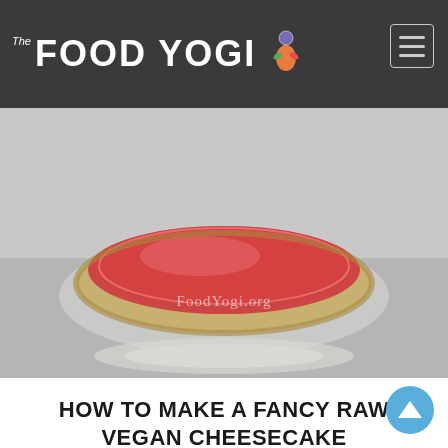The Food Yogi
[Figure (photo): A raw vegan cheesecake with a reddish-pink top layer dusted with sugar or freeze-dried raspberries, on a glass cake stand, photographed from above at an angle. Watermark reads FoodYogi.org]
HOW TO MAKE A FANCY RAW VEGAN CHEESECAKE
By The Food Yogi | December 22, 2014 | 0 Comment
We all like to try something different and for those of